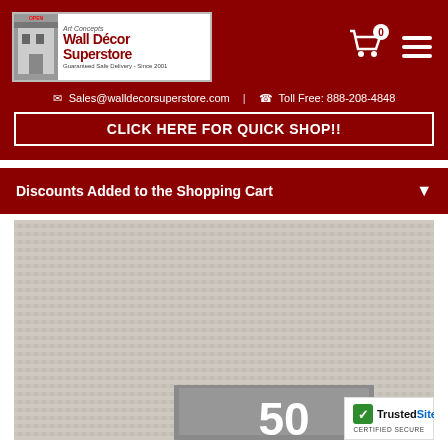[Figure (logo): Art Concepts Wall Decor Superstore logo with tagline 'Guaranteed Safe Delivery - Since 2001']
✉ Sales@walldecorsuperstore.com  ☎ Toll Free: 888-208-4848
CLICK HERE FOR QUICK SHOP!!
Discounts Added to the Shopping Cart
[Figure (photo): Close-up photo of beige/cream canvas texture with a picture frame corner visible at the bottom showing the number 50]
[Figure (logo): TrustedSite Certified Secure badge]